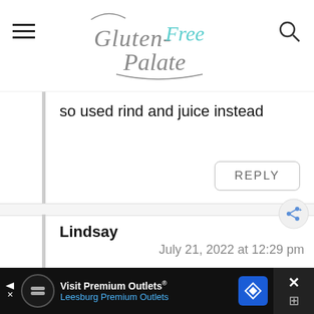Gluten-Free Palate
so used rind and juice instead
REPLY
Lindsay
July 21, 2022 at 12:29 pm
Oh no! I'm not sure what went wrong. It could have something to
[Figure (screenshot): Advertisement bar: Visit Premium Outlets® Leesburg Premium Outlets with logos and close button]